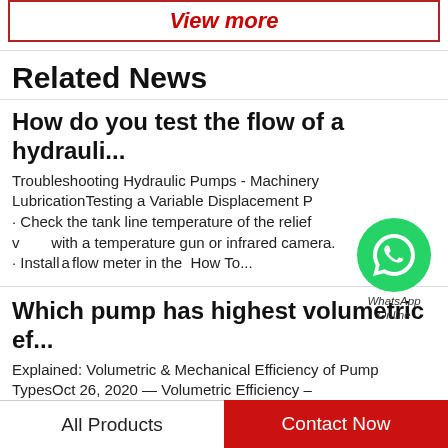View more
Related News
How do you test the flow of a hydrauli...
Troubleshooting Hydraulic Pumps - Machinery LubricationTesting a Variable Displacement Pump · Check the tank line temperature of the relief valve with a temperature gun or infrared camera. · Install a flow meter in the  How To...
[Figure (logo): WhatsApp Online badge with green circle and phone icon, labeled WhatsApp Online]
Which pump has highest volumetric ef...
Explained: Volumetric & Mechanical Efficiency of Pump TypesOct 26, 2020 — Volumetric Efficiency – The official definition for this particular efficiency is...
All Products    Contact Now